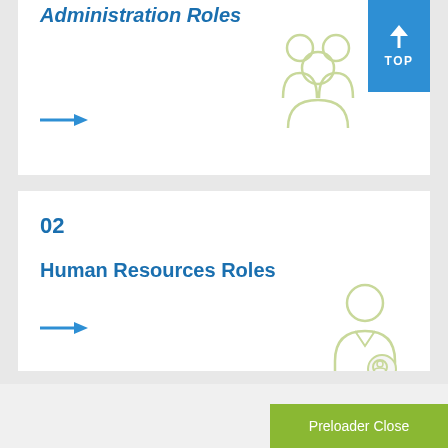Administration Roles
[Figure (illustration): Light green outline icon of a group of people (administration) with a blue 'TOP' button overlay with upward arrow]
[Figure (other): Blue arrow pointing right, link to Administration Roles section]
02
Human Resources Roles
[Figure (illustration): Light green outline icon of a person with HR/badge symbol]
[Figure (other): Blue arrow pointing right, link to Human Resources Roles section]
Preloader Close